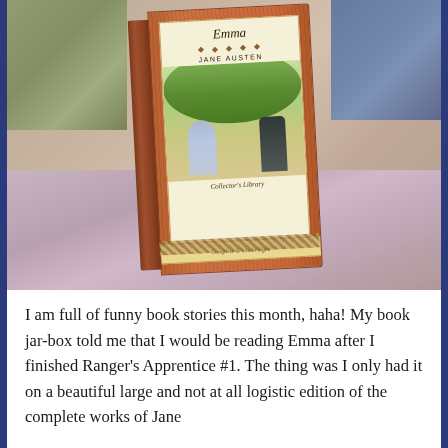[Figure (photo): Photo of a Collector's Library edition of Emma by Jane Austen, standing upright against needlepoint and floral cushions. The book has a brown striped cover with a cream inner panel showing an illustration of two figures walking, titled 'Emma' by Jane Austen, Collector's Library, Complete & Unabridged.]
I am full of funny book stories this month, haha! My book jar-box told me that I would be reading Emma after I finished Ranger's Apprentice #1. The thing was I only had it on a beautiful large and not at all logistic edition of the complete works of Jane